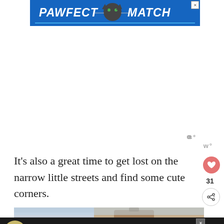[Figure (illustration): Blue advertisement banner for 'Pawfect Match' featuring a black cat icon and white bold italic text on blue background with close X button]
[Figure (other): Empty white advertisement space below the Pawfect Match banner, with a 'w°' watermark badge at bottom right]
It's also a great time to get lost on the narrow little streets and find some cute corners.
[Figure (photo): Partial photo strip showing what appears to be a city or travel scene with buildings and a suitcase]
[Figure (illustration): Black bottom ad banner for 'Change a Life' featuring a dog photo on left, large white bold text, close X button, w° watermark and heart icon]